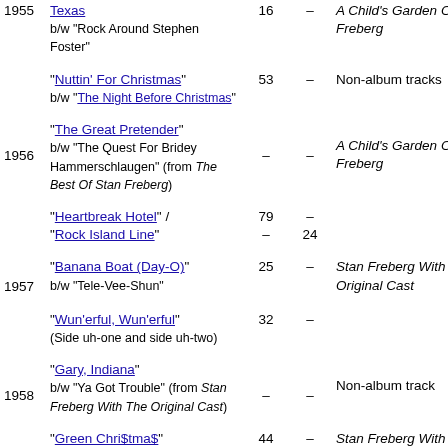| Year | Song | #1 | #2 | Album |
| --- | --- | --- | --- | --- |
| 1955 | "Texas" b/w "Rock Around Stephen Foster" | 16 | – | A Child's Garden Of Freberg |
|  | "Nuttin' For Christmas" b/w "The Night Before Christmas" | 53 | – | Non-album tracks |
| 1956 | "The Great Pretender" b/w "The Quest For Bridey Hammerschlaugen" (from The Best Of Stan Freberg) | – | – | A Child's Garden Of Freberg |
|  | "Heartbreak Hotel" / | 79 | – |  |
|  | "Rock Island Line" | – | 24 |  |
| 1957 | "Banana Boat (Day-O)" b/w "Tele-Vee-Shun" | 25 | – | Stan Freberg With The Original Cast |
|  | "Wun'erful, Wun'erful" (Side uh-one and side uh-two) | 32 | – |  |
| 1958 | "Gary, Indiana" b/w "Ya Got Trouble" (from Stan Freberg With The Original Cast) | – | – | Non-album track |
|  | "Green Chri$tma$" b/w "The Meaning Of... | 44 | – | Stan Freberg With The Original Cast |